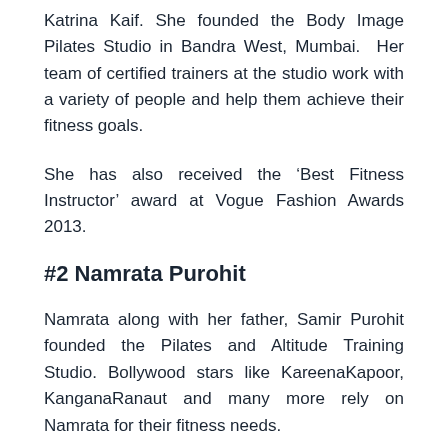Katrina Kaif. She founded the Body Image Pilates Studio in Bandra West, Mumbai. Her team of certified trainers at the studio work with a variety of people and help them achieve their fitness goals.
She has also received the 'Best Fitness Instructor' award at Vogue Fashion Awards 2013.
#2 Namrata Purohit
Namrata along with her father, Samir Purohit founded the Pilates and Altitude Training Studio. Bollywood stars like KareenaKapoor, KanganaRanaut and many more rely on Namrata for their fitness needs.